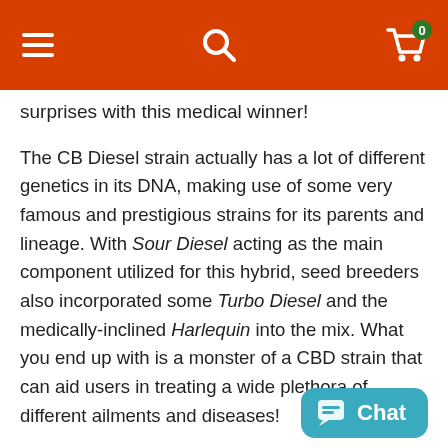[Figure (screenshot): Orange navigation bar with hamburger menu icon on left, search icon in center, and shopping cart icon with green badge showing '0' on right]
surprises with this medical winner!
The CB Diesel strain actually has a lot of different genetics in its DNA, making use of some very famous and prestigious strains for its parents and lineage. With Sour Diesel acting as the main component utilized for this hybrid, seed breeders also incorporated some Turbo Diesel and the medically-inclined Harlequin into the mix. What you end up with is a monster of a CBD strain that can aid users in treating a wide plethora of different ailments and diseases!
[Figure (screenshot): Teal/blue chat button with chat bubble icon and 'Chat' text in white]